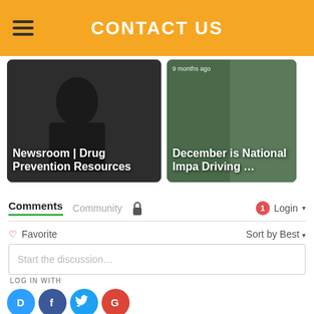CONTACT US
[Figure (screenshot): Video thumbnail: Newsroom | Drug Prevention Resources, with timestamp 'ago']
[Figure (screenshot): Video thumbnail: December is National Impaired Driving ..., with timestamp '9 months ago']
Comments  Community  🔒  1  Login ▾
♡ Favorite    Sort by Best ▾
Start the discussion…
LOG IN WITH
[Figure (logo): Social login icons: Disqus (D), Facebook (f), Twitter bird, Google (G)]
OR SIGN UP WITH DISQUS ?